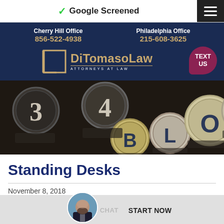Google Screened
[Figure (screenshot): DiTomaso Law website header with Cherry Hill Office (856-522-4938) and Philadelphia Office (215-608-3625) phone numbers, DiTomaso Law logo, and TEXT US bubble]
[Figure (photo): Close-up photo of typewriter keys showing letters B, L, O, G and numbers 3, 4]
Standing Desks
November 8, 2018
LIVE CHAT   START NOW